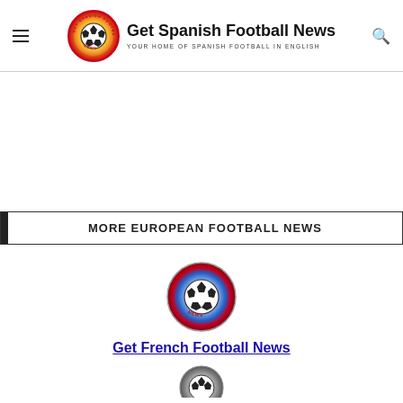Get Spanish Football News — YOUR HOME OF SPANISH FOOTBALL IN ENGLISH
[Figure (other): White advertisement space area]
MORE EUROPEAN FOOTBALL NEWS
[Figure (logo): Get French Football News logo — circular badge with football and French flag colors]
Get French Football News
[Figure (logo): Partial logo at bottom of page]